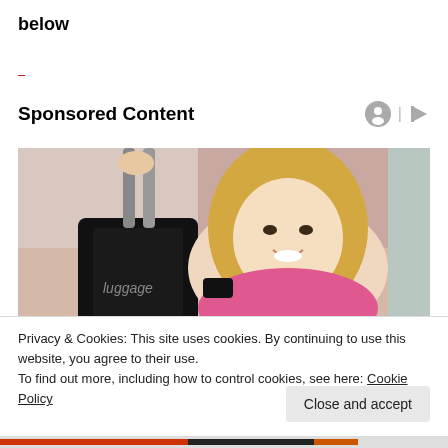below
–
Sponsored Content
[Figure (photo): A smiling blonde woman lying on the floor holding the handle of a black rolling suitcase, wearing a pink and black outfit.]
Privacy & Cookies: This site uses cookies. By continuing to use this website, you agree to their use.
To find out more, including how to control cookies, see here: Cookie Policy
Close and accept